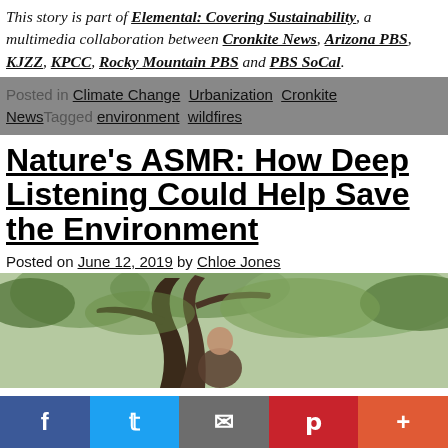This story is part of Elemental: Covering Sustainability, a multimedia collaboration between Cronkite News, Arizona PBS, KJZZ, KPCC, Rocky Mountain PBS and PBS SoCal.
Posted in: Climate Change  Urbanization  Cronkite News  Tagged  environment  wildfires
Nature's ASMR: How Deep Listening Could Help Save the Environment
Posted on June 12, 2019 by Chloe Jones
[Figure (photo): A person partially visible behind a large twisted tree trunk with green foliage in the background, outdoor nature scene.]